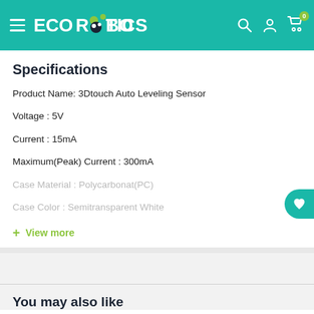ECOROBOTICS
Specifications
Product Name: 3Dtouch Auto Leveling Sensor
Voltage : 5V
Current : 15mA
Maximum(Peak) Current : 300mA
Case Material :  Polycarbonat(PC)
Case Color :  Semitransparent White
+ View more
You may also like